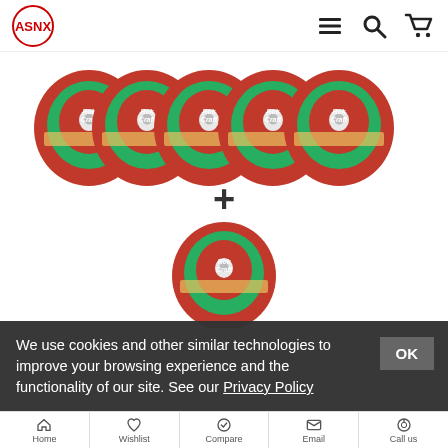ASNX logo with navigation icons (menu, search, cart)
[Figure (photo): Five red and green Rok Craft abrasive cutting discs arranged in a row on top, plus sign in the middle, and one additional disc below — a 5+1 product bundle display on white background]
We use cookies and other similar technologies to improve your browsing experience and the functionality of our site. See our Privacy Policy
Home | Wishlist | Compare | Email | Call us